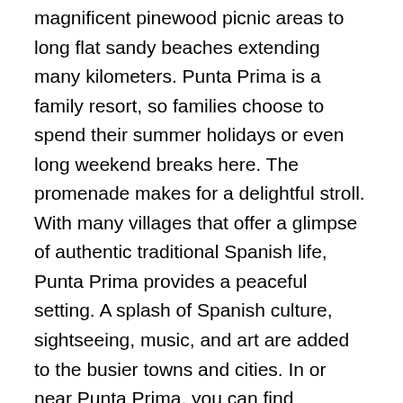magnificent pinewood picnic areas to long flat sandy beaches extending many kilometers. Punta Prima is a family resort, so families choose to spend their summer holidays or even long weekend breaks here. The promenade makes for a delightful stroll. With many villages that offer a glimpse of authentic traditional Spanish life, Punta Prima provides a peaceful setting. A splash of Spanish culture, sightseeing, music, and art are added to the busier towns and cities. In or near Punta Prima, you can find whatever you want on the south-eastern mainland of Spain.
Places of interest in Punta Prima, Spain?
Punta Prima is only 5 km away from Torrevieja's